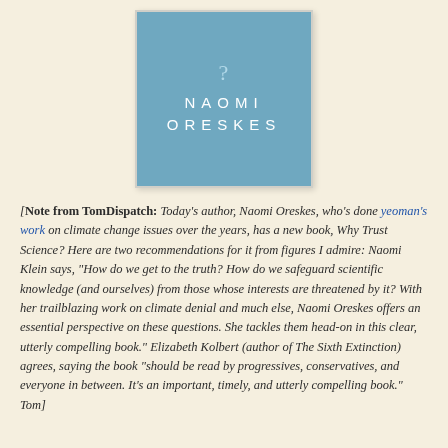[Figure (illustration): Book cover for 'Why Trust Science?' by Naomi Oreskes. Light blue square with a question mark at top and the author's name 'NAOMI ORESKES' in white spaced letters.]
[Note from TomDispatch: Today's author, Naomi Oreskes, who's done yeoman's work on climate change issues over the years, has a new book, Why Trust Science? Here are two recommendations for it from figures I admire: Naomi Klein says, "How do we get to the truth? How do we safeguard scientific knowledge (and ourselves) from those whose interests are threatened by it? With her trailblazing work on climate denial and much else, Naomi Oreskes offers an essential perspective on these questions. She tackles them head-on in this clear, utterly compelling book." Elizabeth Kolbert (author of The Sixth Extinction) agrees, saying the book "should be read by progressives, conservatives, and everyone in between. It's an important, timely, and utterly compelling book." Tom]